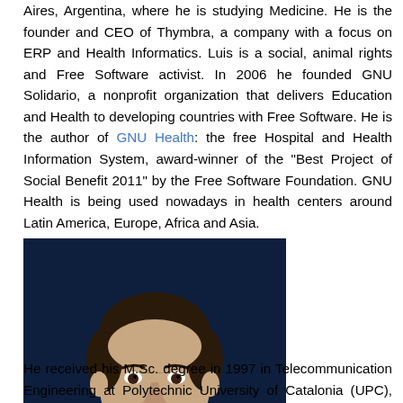Aires, Argentina, where he is studying Medicine. He is the founder and CEO of Thymbra, a company with a focus on ERP and Health Informatics. Luis is a social, animal rights and Free Software activist. In 2006 he founded GNU Solidario, a nonprofit organization that delivers Education and Health to developing countries with Free Software. He is the author of GNU Health: the free Hospital and Health Information System, award-winner of the "Best Project of Social Benefit 2011" by the Free Software Foundation. GNU Health is being used nowadays in health centers around Latin America, Europe, Africa and Asia.
[Figure (photo): Portrait photo of Carlos M. Travieso-González, a man with short dark hair wearing a checkered shirt, photographed against a dark blue background.]
Carlos M. Travieso-González
He received his M.Sc. degree in 1997 in Telecommunication Engineering at Polytechnic University of Catalonia (UPC), Spain; and Ph.D. degree in 2002 at University of Las Palmas